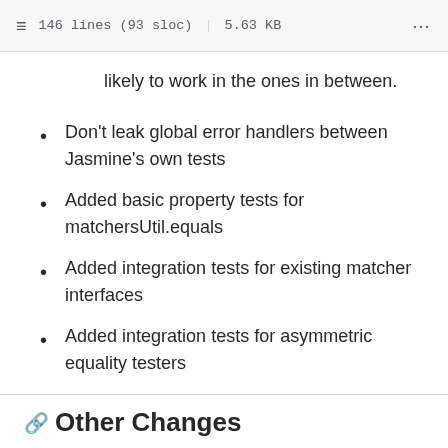146 lines (93 sloc) | 5.63 KB
likely to work in the ones in between.
Don't leak global error handlers between Jasmine's own tests
Added basic property tests for matchersUtil.equals
Added integration tests for existing matcher interfaces
Added integration tests for asymmetric equality testers
Test IE before other browsers on Travis
Other Changes